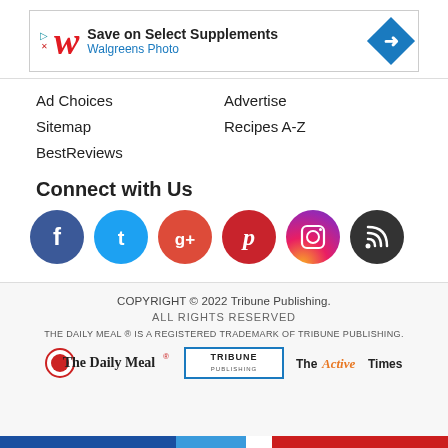[Figure (other): Walgreens Photo advertisement banner: Save on Select Supplements]
Ad Choices
Advertise
Sitemap
Recipes A-Z
BestReviews
Connect with Us
[Figure (other): Social media icons: Facebook, Twitter, Google+, Pinterest, Instagram, RSS]
COPYRIGHT © 2022 Tribune Publishing.
ALL RIGHTS RESERVED
THE DAILY MEAL ® IS A REGISTERED TRADEMARK OF TRIBUNE PUBLISHING.
[Figure (logo): The Daily Meal, Tribune Publishing, and The Active Times logos]